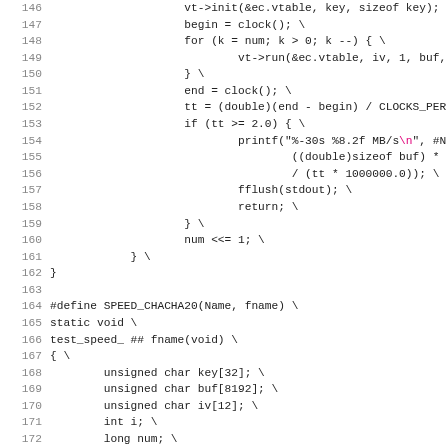[Figure (screenshot): Source code listing showing C preprocessor macro definitions with line numbers 146-178. Code includes a speed benchmark macro SPEED_CHACHA20 with timing logic using clock(), loops, printf, fflush, and memory initialization functions.]